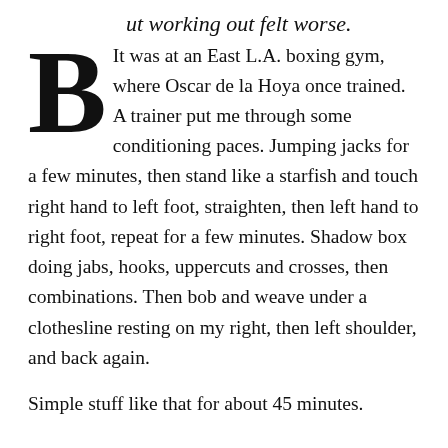But working out felt worse. It was at an East L.A. boxing gym, where Oscar de la Hoya once trained. A trainer put me through some conditioning paces. Jumping jacks for a few minutes, then stand like a starfish and touch right hand to left foot, straighten, then left hand to right foot, repeat for a few minutes. Shadow box doing jabs, hooks, uppercuts and crosses, then combinations. Then bob and weave under a clothesline resting on my right, then left shoulder, and back again.
Simple stuff like that for about 45 minutes.